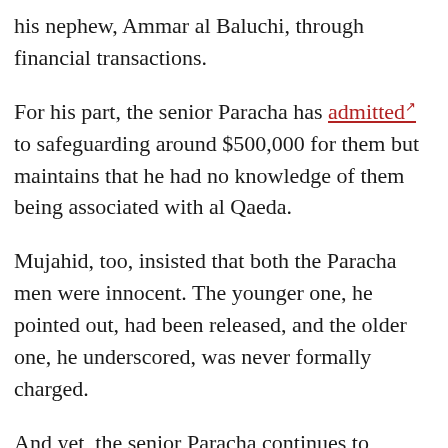his nephew, Ammar al Baluchi, through financial transactions.
For his part, the senior Paracha has admitted to safeguarding around $500,000 for them but maintains that he had no knowledge of them being associated with al Qaeda.
Mujahid, too, insisted that both the Paracha men were innocent. The younger one, he pointed out, had been released, and the older one, he underscored, was never formally charged.
And yet, the senior Paracha continues to languish at the Guantanamo Bay prison for over 17 years.